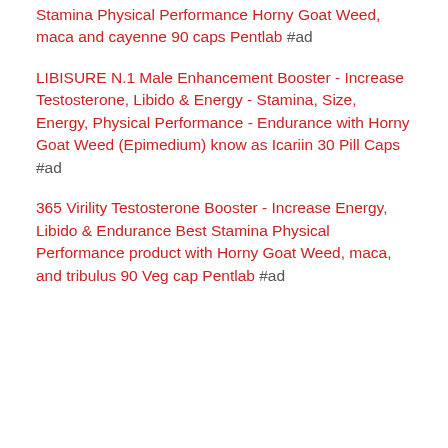Stamina Physical Performance Horny Goat Weed, maca and cayenne 90 caps Pentlab #ad
LIBISURE N.1 Male Enhancement Booster - Increase Testosterone, Libido & Energy - Stamina, Size, Energy, Physical Performance - Endurance with Horny Goat Weed (Epimedium) know as Icariin 30 Pill Caps #ad
365 Virility Testosterone Booster - Increase Energy, Libido & Endurance Best Stamina Physical Performance product with Horny Goat Weed, maca, and tribulus 90 Veg cap Pentlab #ad